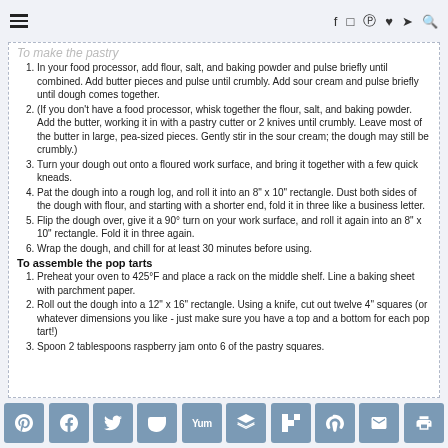≡   f  ⓘ  ⓟ  ♥  ⊃  🔍
To make the pastry
In your food processor, add flour, salt, and baking powder and pulse briefly until combined. Add butter pieces and pulse until crumbly. Add sour cream and pulse briefly until dough comes together.
(If you don't have a food processor, whisk together the flour, salt, and baking powder. Add the butter, working it in with a pastry cutter or 2 knives until crumbly. Leave most of the butter in large, pea-sized pieces. Gently stir in the sour cream; the dough may still be crumbly.)
Turn your dough out onto a floured work surface, and bring it together with a few quick kneads.
Pat the dough into a rough log, and roll it into an 8" x 10" rectangle. Dust both sides of the dough with flour, and starting with a shorter end, fold it in three like a business letter.
Flip the dough over, give it a 90° turn on your work surface, and roll it again into an 8" x 10" rectangle. Fold it in three again.
Wrap the dough, and chill for at least 30 minutes before using.
To assemble the pop tarts
Preheat your oven to 425°F and place a rack on the middle shelf. Line a baking sheet with parchment paper.
Roll out the dough into a 12" x 16" rectangle. Using a knife, cut out twelve 4" squares (or whatever dimensions you like - just make sure you have a top and a bottom for each pop tart!)
Spoon 2 tablespoons raspberry jam onto 6 of the pastry squares.
Social sharing buttons: Pinterest, Facebook, Twitter, Pocket, Yum, Layers, Flipboard, Mix, Email, Print